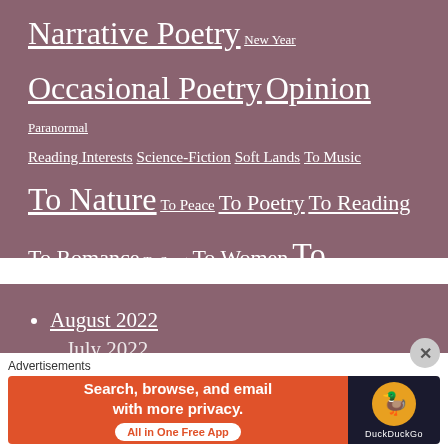Narrative Poetry   New Year
Occasional Poetry   Opinion   Paranormal
Reading Interests   Science-Fiction   Soft Lands   To Music
To Nature   To Peace   To Poetry   To Reading
To Romance   To Sport   To Women   To Writing
Why Write   WordPrompt
August 2022
July 2022 (partial)
[Figure (infographic): DuckDuckGo advertisement banner: orange left side with text 'Search, browse, and email with more privacy. All in One Free App', dark right side with DuckDuckGo duck logo and brand name.]